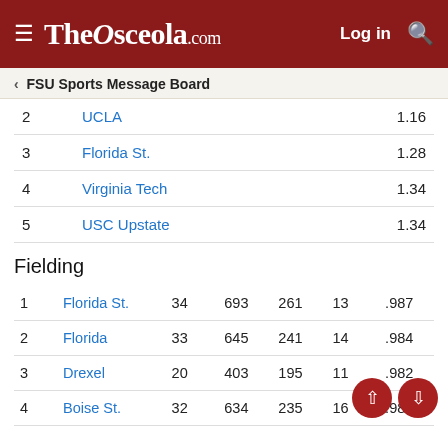TheOsceola.com  Log in  [search]
< FSU Sports Message Board
| Rank | Team | Stat |
| --- | --- | --- |
| 2 | UCLA | 1.16 |
| 3 | Florida St. | 1.28 |
| 4 | Virginia Tech | 1.34 |
| 5 | USC Upstate | 1.34 |
Fielding
| Rank | Team | Col1 | Col2 | Col3 | Col4 | Stat |
| --- | --- | --- | --- | --- | --- | --- |
| 1 | Florida St. | 34 | 693 | 261 | 13 | .987 |
| 2 | Florida | 33 | 645 | 241 | 14 | .984 |
| 3 | Drexel | 20 | 403 | 195 | 11 | .982 |
| 4 | Boise St. | 32 | 634 | 235 | 16 | .982 |